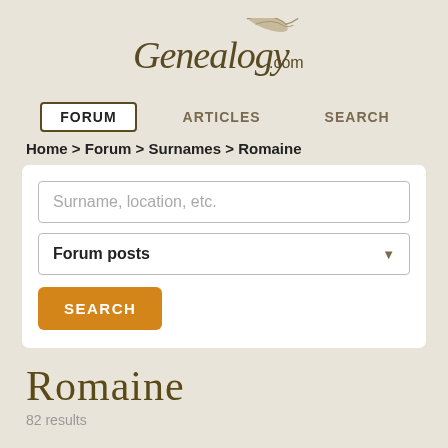Genealogy.com
FORUM | ARTICLES | SEARCH
Home > Forum > Surnames > Romaine
[Figure (screenshot): Search form with text input 'Surname, location, etc.', dropdown 'Forum posts', and orange SEARCH button]
Romaine
82 results